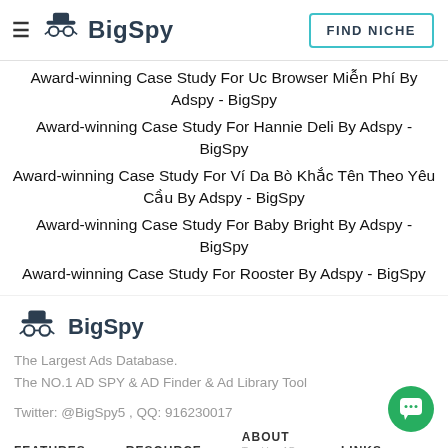BigSpy — FIND NICHE
Award-winning Case Study For Uc Browser Miễn Phí By Adspy - BigSpy
Award-winning Case Study For Hannie Deli By Adspy - BigSpy
Award-winning Case Study For Ví Da Bò Khắc Tên Theo Yêu Cầu By Adspy - BigSpy
Award-winning Case Study For Baby Bright By Adspy - BigSpy
Award-winning Case Study For Rooster By Adspy - BigSpy
[Figure (logo): BigSpy logo with spy hat icon]
The Largest Ads Database.
The NO.1 AD SPY & AD Finder & Ad Library Tool
Twitter: @BigSpy5 , QQ: 916230017
FEATURES   RESOURCE   ABOUT   LINKS   Tracking ADs